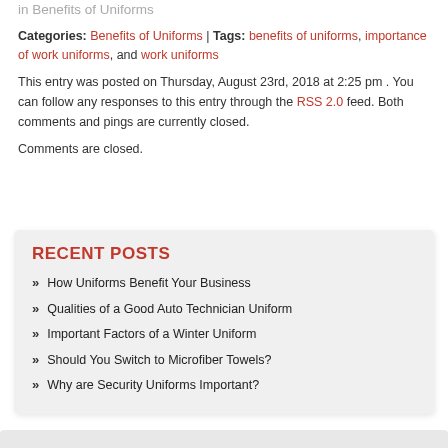in  Benefits of Uniforms
Categories: Benefits of Uniforms | Tags: benefits of uniforms, importance of work uniforms, and work uniforms
This entry was posted on Thursday, August 23rd, 2018 at 2:25 pm . You can follow any responses to this entry through the RSS 2.0 feed. Both comments and pings are currently closed.
Comments are closed.
RECENT POSTS
How Uniforms Benefit Your Business
Qualities of a Good Auto Technician Uniform
Important Factors of a Winter Uniform
Should You Switch to Microfiber Towels?
Why are Security Uniforms Important?